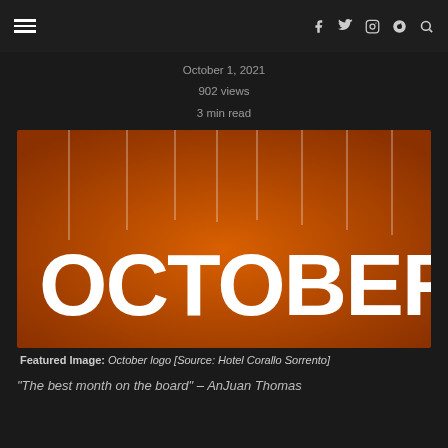≡  f  Twitter  Instagram  Spotify  Search
October 1, 2021
902 views
3 min read
[Figure (illustration): Orange background with large white 3D letters spelling OCTOBER hanging from strings, each letter suspended by a white string from above.]
Featured Image: October logo [Source: Hotel Corallo Sorrento]
“The best month on the board” – AnJuan Thomas